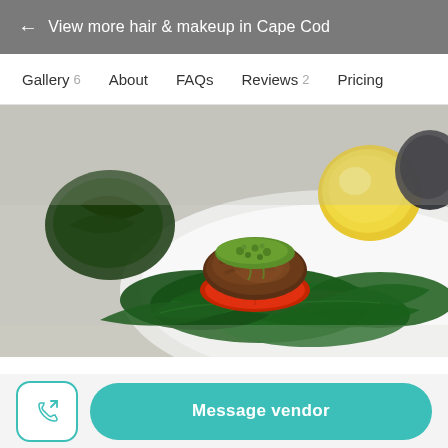← View more hair & makeup in Cape Cod
Gallery 6   About   FAQs   Reviews 2   Pricing
[Figure (photo): Close-up photo of a grilled meat skewer topped with herb pesto sauce, served on sliced red tomato and fresh spinach leaves on a white plate, with a lemon and dark vegetable in the background]
Cranberry Vine Catering & Events
Message vendor